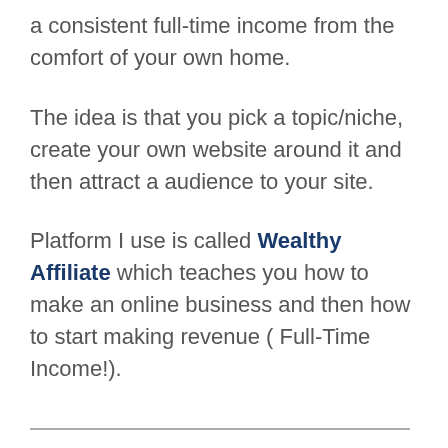a consistent full-time income from the comfort of your own home.
The idea is that you pick a topic/niche, create your own website around it and then attract a audience to your site.
Platform I use is called Wealthy Affiliate which teaches you how to make an online business and then how to start making revenue ( Full-Time Income!).